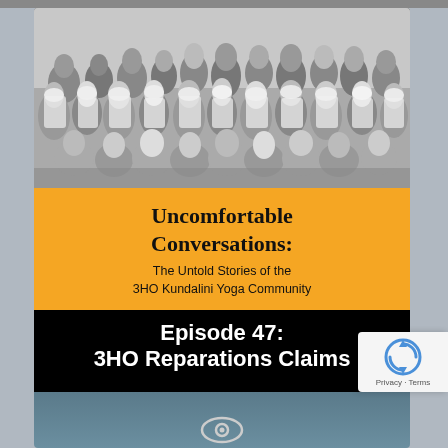[Figure (photo): Black and white group photo of many people wearing white clothing and turbans, likely members of the 3HO Kundalini Yoga community]
Uncomfortable Conversations: The Untold Stories of the 3HO Kundalini Yoga Community
Episode 47: 3HO Reparations Claims
[Figure (photo): Bottom preview area with a dark blue-grey background and partial eye/logo icon visible]
[Figure (other): reCAPTCHA widget showing rotating arrows icon and Privacy - Terms text]